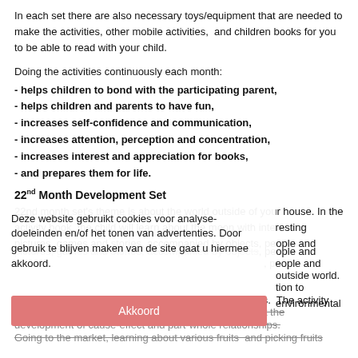In each set there are also necessary toys/equipment that are needed to make the activities, other mobile activities,  and children books for you to be able to read with your child.
Doing the activities continuously each month:
- helps children to bond with the participating parent,
- helps children and parents to have fun,
- increases self-confidence and communication,
- increases attention, perception and concentration,
- increases interest and appreciation for books,
- and prepares them for life.
22nd Month Development Set
22nd month set's theme is about the world outside of your house. In the activity book, the child will learn about the moon with interesting pictures, games and stories, accompanied by objects, people and animals that are present in the outside world. ... stimulation to environmental stimuli and his adaptation to the environment increases. The activity book contains games and short stories that will support the development of cause-effect and part-whole relationships.
Going to the market, learning about various fruits and picking fruits